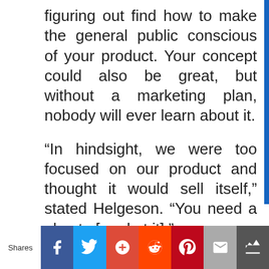figuring out find how to make the general public conscious of your product. Your concept could also be great, but without a marketing plan, nobody will ever learn about it.
“In hindsight, we were too focused on our product and thought it would sell itself,” stated Helgeson. “You need a plan to [market it].”
In a previous Business News Daily interview, marketing and communications professional Nicole Lininger stated that many entrepreneurs
Shares | Facebook | Twitter | Google+ | Reddit | Pinterest | Email | Crown